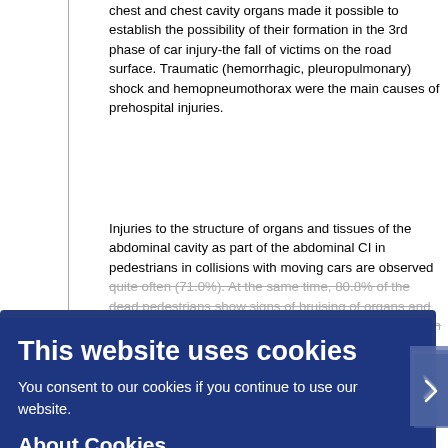chest and chest cavity organs made it possible to establish the possibility of their formation in the 3rd phase of car injury-the fall of victims on the road surface. Traumatic (hemorrhagic, pleuropulmonary) shock and hemopneumothorax were the main causes of prehospital injuries.
Injuries to the structure of organs and tissues of the abdominal cavity as part of the abdominal CI in pedestrians in collisions with moving cars are observed quite often (71.0%). At the same time, 80.8% of the dead pedestrians show signs of bruising of organs and tissues with pronounced hemorrhages in the suspension devices, walls and parenchyma of organs. In 23.2% of cases, there is a violation of the anatomical integrity of organs, mainly the liver and spleen, mainly in the form of ruptures and often in the form of a crushed parenchyma, which are the cause of fatal bleeding. Damage to the structure of the abdominal organs in collisions between pedestrians and moving cars is formed in the 3rd phase of injury-due to a general concussion of the body when victims fall on the road surface.
In the clinical and morphological aspect, the division into the severity of liver damage, taking into account the volume and depth of ruptures (fractures), is the most informative for establishing the mechanism of formation of organ damage, depending on the circumstances and types of blunt trauma.
[Figure (screenshot): Cookie consent overlay banner with dark blue background containing title 'This website uses cookies', subtitle 'You consent to our cookies if you continue to use our website.', 'About Cookies' link, and 'OK' button. Also shows a right-pointing arrow button on the right edge and a scroll-up button at bottom right.]